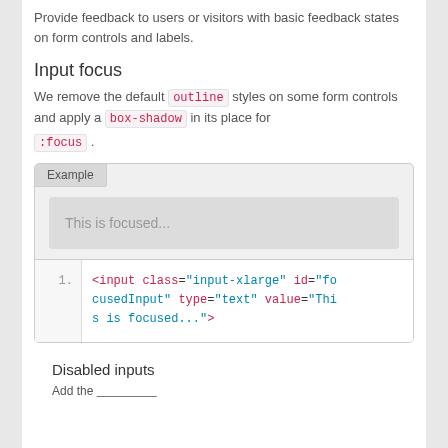Provide feedback to users or visitors with basic feedback states on form controls and labels.
Input focus
We remove the default outline styles on some form controls and apply a box-shadow in its place for :focus.
[Figure (screenshot): Example box showing a focused input field labeled 'This is focused...' with a code snippet below: <input class="input-xlarge" id="focusedInput" type="text" value="This is focused...">]
Disabled inputs
Add the...